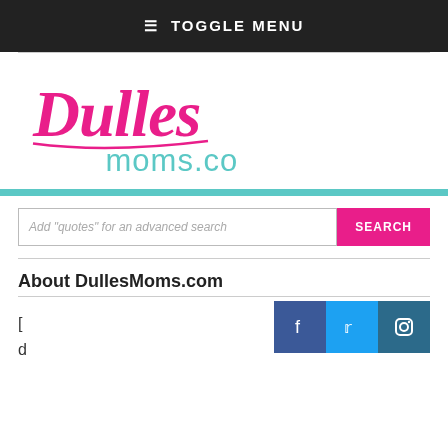≡ TOGGLE MENU
[Figure (logo): DullesMoms.com logo in pink cursive and teal sans-serif]
Add "quotes" for an advanced search
SEARCH
About DullesMoms.com
[Figure (infographic): Social media icons: Facebook (f), Twitter (bird), Instagram (camera)]
[